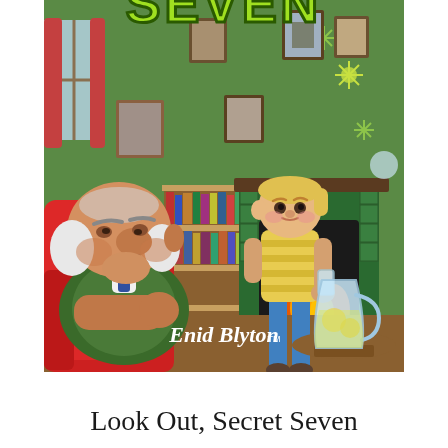[Figure (illustration): Book cover of 'Look Out, Secret Seven' by Enid Blyton. Animated/illustrated style showing an elderly man in a green vest seated in a red armchair looking downward, and a child in a yellow striped shirt holding a glass, standing near a fireplace in a cozy living room with bookshelves and framed photos on a green wall. A pitcher of lemonade sits on a table. 'SEVEN' text in large green letters appears at the top. Author signature 'Enid Blyton' in white script at the bottom of the cover.]
Look Out, Secret Seven